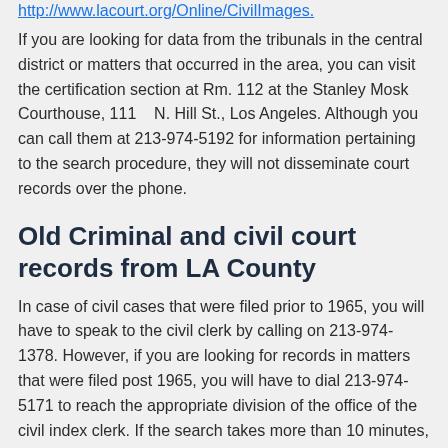http://www.lacourt.org/Online/CivilImages.
If you are looking for data from the tribunals in the central district or matters that occurred in the area, you can visit the certification section at Rm. 112 at the Stanley Mosk Courthouse, 111    N. Hill St., Los Angeles. Although you can call them at 213-974-5192 for information pertaining to the search procedure, they will not disseminate court records over the phone.
Old Criminal and civil court records from LA County
In case of civil cases that were filed prior to 1965, you will have to speak to the civil clerk by calling on 213-974-1378. However, if you are looking for records in matters that were filed post 1965, you will have to dial 213-974-5171 to reach the appropriate division of the office of the civil index clerk. If the search takes more than 10 minutes,